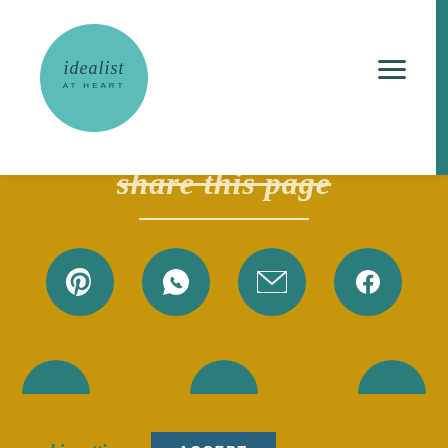[Figure (logo): Idealist At Heart logo — teal circle with italic serif text 'idealist' and uppercase 'AT HEART' below]
[Figure (infographic): Hamburger menu icon (three horizontal lines) in top right of header]
share this page
[Figure (infographic): Four teal circular social share buttons: Pinterest, WhatsApp, Email, Facebook]
we use cookies on our website to give you the most relevant experience by remembering your preferences and repeat visits. by clicking "accept", you consent to the use of ALL the cookies.
cookie settings
ACCEPT